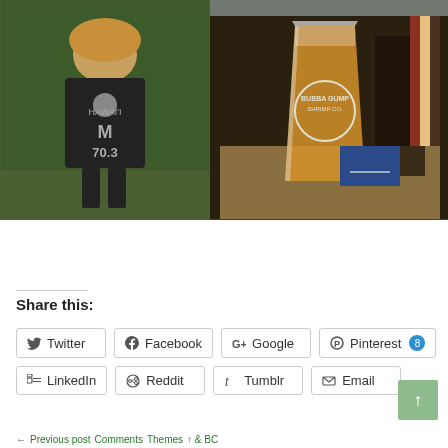[Figure (photo): Left: child with curly hair standing by chain-link fence wearing black Ironman Hawaii 70.3 shirt; Right top: partial photo; Right bottom: Bubba Gump beer glass on restaurant table]
Save
Share this:
Twitter
Facebook
Google
Pinterest 8
LinkedIn
Reddit
Tumblr
Email